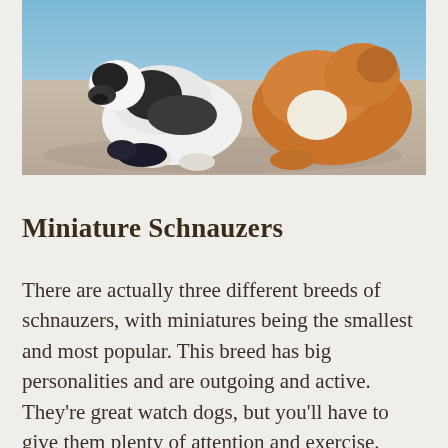[Figure (photo): Photo of dogs (miniature schnauzers or similar breeds) outdoors on a sandy/concrete surface, one appears black and white and another is orange/tan colored]
Miniature Schnauzers
There are actually three different breeds of schnauzers, with miniatures being the smallest and most popular. This breed has big personalities and are outgoing and active. They’re great watch dogs, but you’ll have to give them plenty of attention and exercise.